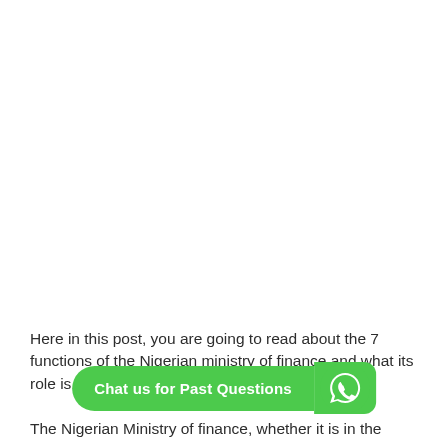Here in this post, you are going to read about the 7 functions of the Nigerian ministry of finance and what its role is as an agency of government.
The Nigerian Ministry of finance, whether it is in the